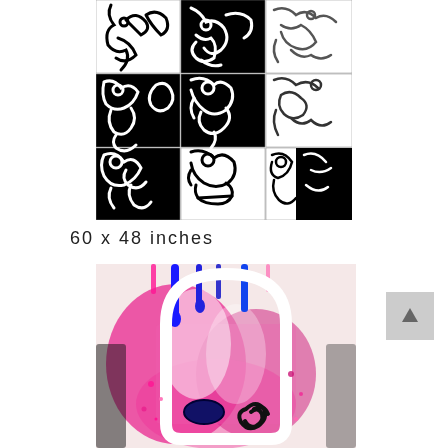[Figure (illustration): A 3x3 grid of abstract black and white face artworks with swirling line patterns and spiral eyes. Top row: partial crops of bold abstract faces. Middle row: left panel has white lines on black background showing abstract face, center panel is black background with white swirling abstract figure, right panel is white background with gray line abstract form. Bottom row: left panel shows white lines on black background forming a face with spirals, center panel shows black line face on white background with open mouth, right panel shows black line abstract figure on white/black background.]
60 x 48 inches
[Figure (illustration): A colorful abstract painting with dripping blue, pink/magenta, and dark paint. Features a large white oval arch shape in center, with blue drips from top, magenta/pink splatter background, a dark navy oval shape and a black spiral/rose shape in the lower portion. Energetic street-art style.]